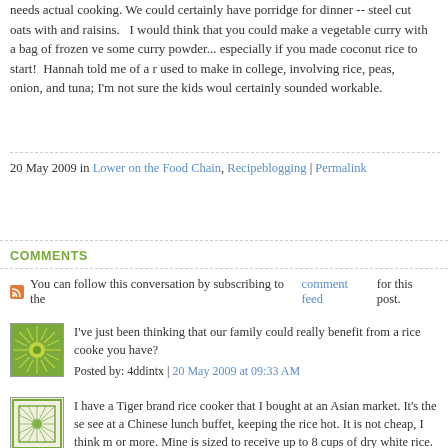needs actual cooking. We could certainly have porridge for dinner -- steel cut oats with and raisins. I would think that you could make a vegetable curry with a bag of frozen ve some curry powder... especially if you made coconut rice to start! Hannah told me of a r used to make in college, involving rice, peas, onion, and tuna; I'm not sure the kids woul certainly sounded workable.
20 May 2009 in Lower on the Food Chain, Recipeblogging | Permalink
COMMENTS
You can follow this conversation by subscribing to the comment feed for this post.
I've just been thinking that our family could really benefit from a rice cooke you have?
Posted by: 4ddintx | 20 May 2009 at 09:33 AM
I have a Tiger brand rice cooker that I bought at an Asian market. It's the se see at a Chinese lunch buffet, keeping the rice hot. It is not cheap, I think m or more. Mine is sized to receive up to 8 cups of dry white rice.

I have only ever used better-quality Asian rice cookers with nonstick inserts biased towards the rice cookers that are obviously aimed at people for who daily staple. But that's not to say that the inexpensive little Sunbeam or Ost are necessarily bad -- I'm just a little suspicious that they are not going to b
Posted by: bearing | 20 May 2009 at 09:38 AM